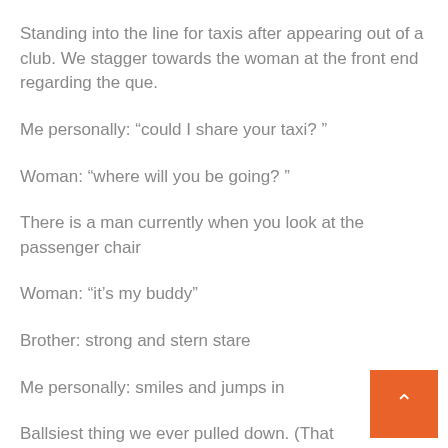Standing into the line for taxis after appearing out of a club. We stagger towards the woman at the front end regarding the que.
Me personally: “could I share your taxi? ”
Woman: “where will you be going? ”
There is a man currently when you look at the passenger chair
Woman: “it’s my buddy”
Brother: strong and stern stare
Me personally: smiles and jumps in
Ballsiest thing we ever pulled down. (That is wh she stated too)